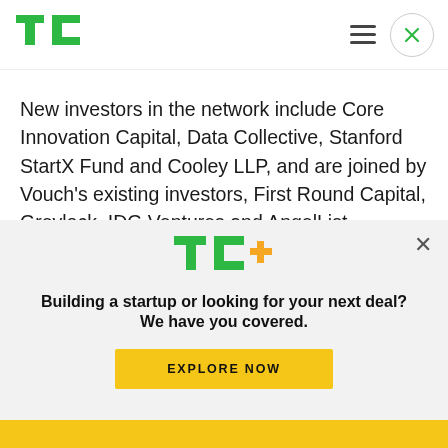TechCrunch logo, hamburger menu, close button
New investors in the network include Core Innovation Capital, Data Collective, Stanford StartX Fund and Cooley LLP, and are joined by Vouch's existing investors, First Round Capital, Greylock, IDG Ventures and AngelList. Combined with an earlier seed round, this brings Vouch's total raise to date to $9.6 million.
[Figure (logo): TechCrunch Plus (TC+) logo in green with orange plus sign]
Building a startup or looking for your next deal? We have you covered.
EXPLORE NOW